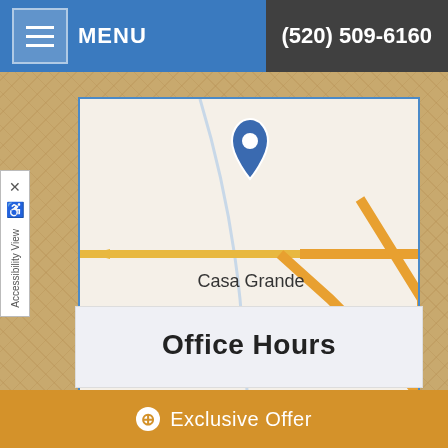MENU | (520) 509-6160
[Figure (map): Street map showing Casa Grande, Arizona area with nearby cities Chuichu, Arizona City, and Eloy. Interstate 8 is visible. A blue location pin marker is shown near Casa Grande.]
Leaflet | Map data provided by Internet Brands
Office Hours
Exclusive Offer